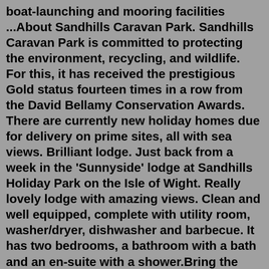boat-launching and mooring facilities ...About Sandhills Caravan Park. Sandhills Caravan Park is committed to protecting the environment, recycling, and wildlife. For this, it has received the prestigious Gold status fourteen times in a row from the David Bellamy Conservation Awards. There are currently new holiday homes due for delivery on prime sites, all with sea views. Brilliant lodge. Just back from a week in the 'Sunnyside' lodge at Sandhills Holiday Park on the Isle of Wight. Really lovely lodge with amazing views. Clean and well equipped, complete with utility room, washer/dryer, dishwasher and barbecue. It has two bedrooms, a bathroom with a bath and an en-suite with a shower.Bring the buckets and spades – and spares – along to the small and friendly Sandhills Holiday Park at Christchurch, set on the seafront and near the seaside towns of Bournemouth and Poole. The park is set in the grounds of an eighteenth century manor house and has caravans on different price tariffs and in different sizes, sleeping from ... At Sandhills Bay you practically step out from your...